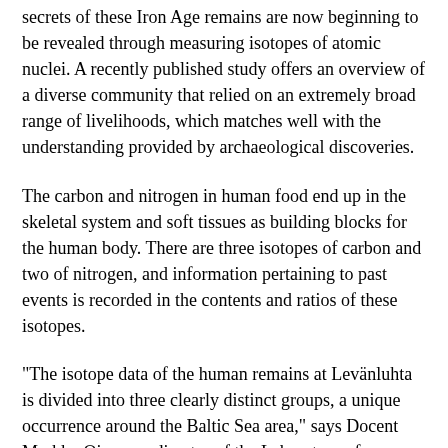secrets of these Iron Age remains are now beginning to be revealed through measuring isotopes of atomic nuclei. A recently published study offers an overview of a diverse community that relied on an extremely broad range of livelihoods, which matches well with the understanding provided by archaeological discoveries.
The carbon and nitrogen in human food end up in the skeletal system and soft tissues as building blocks for the human body. There are three isotopes of carbon and two of nitrogen, and information pertaining to past events is recorded in the contents and ratios of these isotopes.
"The isotope data of the human remains at Levänluhta is divided into three clearly distinct groups, a unique occurrence around the Baltic Sea area," says Docent Markku Oinonen, director of the Laboratory of Chronology at the University of Helsinki.